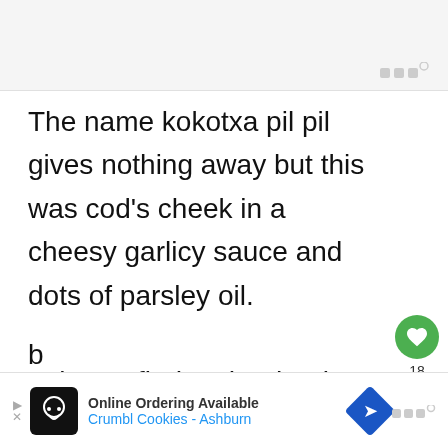[Figure (screenshot): Top gray navigation/header bar of a website]
The name kokotxa pil pil gives nothing away but this was cod's cheek in a cheesy garlicy sauce and dots of parsley oil.

I always find cod's cheek surprisingly sweet but this was
[Figure (other): Green heart/like button with count 18 and share button on right sidebar]
[Figure (screenshot): Advertisement banner: Online Ordering Available Crumbl Cookies - Ashburn]